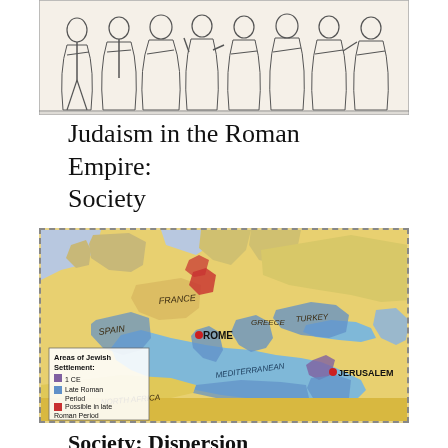[Figure (illustration): Historical illustration showing a group of robed figures in classical style, likely depicting Roman-era people in a relief or frieze format, rendered in black and white line art.]
Judaism in the Roman Empire: Society
[Figure (map): Map of Europe, North Africa, and the Middle East showing areas of Jewish settlement in the Roman Empire. The map labels include FRANCE, SPAIN, GREECE, TURKEY, ROME (with a red dot marker), JERUSALEM (with a red dot marker), MEDITERRANEAN, and NORTH AFRICA. A legend in the lower left shows: Areas of Jewish Settlement: purple = 1 CE; blue = Late Roman Period; red = Possible in late Roman Period.]
Society: Dispersion